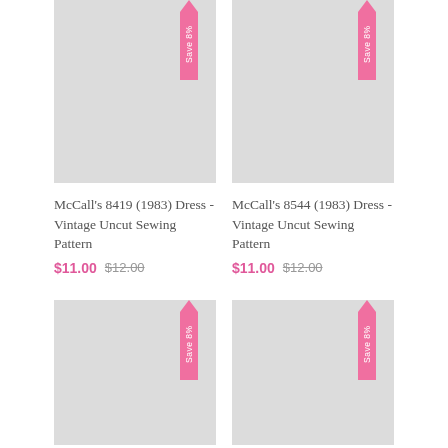[Figure (photo): Product image placeholder for McCall's 8419 dress pattern with pink Save 8% badge]
McCall's 8419 (1983) Dress - Vintage Uncut Sewing Pattern
$11.00  $12.00
[Figure (photo): Product image placeholder for McCall's 8544 dress pattern with pink Save 8% badge]
McCall's 8544 (1983) Dress - Vintage Uncut Sewing Pattern
$11.00  $12.00
[Figure (photo): Product image placeholder for third dress pattern with pink Save 8% badge]
[Figure (photo): Product image placeholder for fourth dress pattern with pink Save 8% badge]